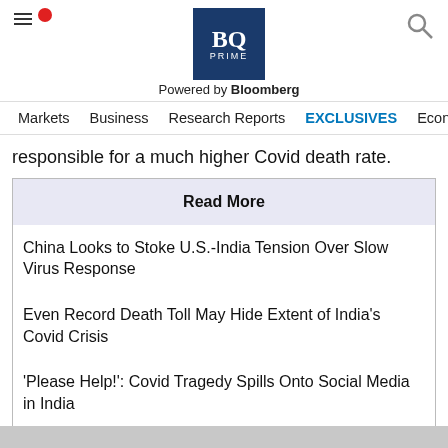BQ PRIME - Powered by Bloomberg
Markets | Business | Research Reports | EXCLUSIVES | Economy
responsible for a much higher Covid death rate.
| Read More |
| --- |
| China Looks to Stoke U.S.-India Tension Over Slow Virus Response |
| Even Record Death Toll May Hide Extent of India's Covid Crisis |
| 'Please Help!': Covid Tragedy Spills Onto Social Media in India |
| There's a New Virus Variant in India. How Worried Should |